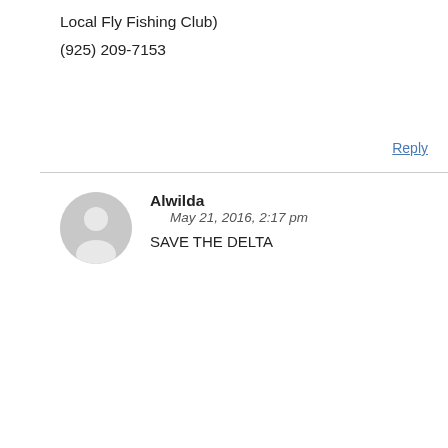Local Fly Fishing Club)
(925) 209-7153
Reply
Alwilda
May 21, 2016, 2:17 pm
SAVE THE DELTA
Reply
Linda Hall
May 23, 2016, 7:23 pm
Why are these two people still in charge? What happened to limits on people in our legislature? These two have been condemning our rights for generations, now! Stand up and fight for our rights as citizens! We need our Delta and need it